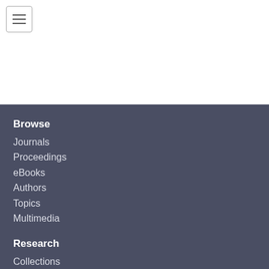[Figure (screenshot): Hamburger menu icon button in top-left corner of a white header area]
Browse
Journals
Proceedings
eBooks
Authors
Topics
Multimedia
Research
Collections
Searching
Alerts